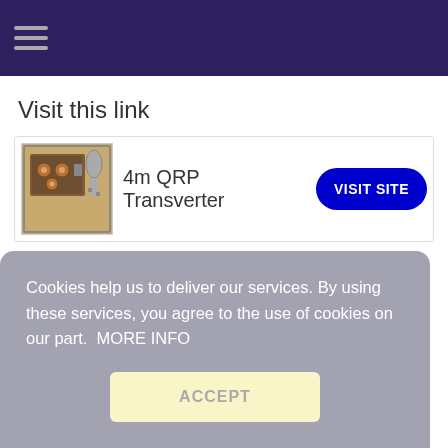Visit this link
[Figure (photo): Thumbnail image of a 4m QRP Transverter — an open electronic enclosure with circuit components and connectors visible]
4m QRP Transverter
VISIT SITE
Cookies help us to deliver our services. By using these services, you agree to the use of cookies on our part.  MORE INFO
ACCEPT